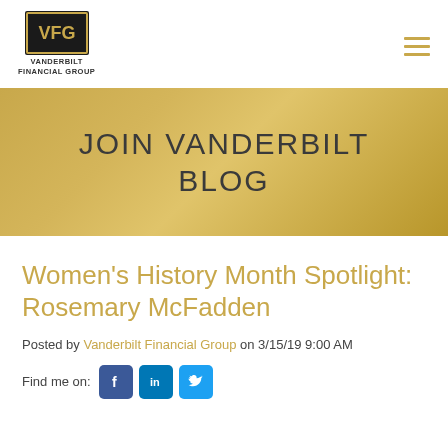VFG Vanderbilt Financial Group
JOIN VANDERBILT BLOG
Women's History Month Spotlight: Rosemary McFadden
Posted by Vanderbilt Financial Group on 3/15/19 9:00 AM
Find me on: